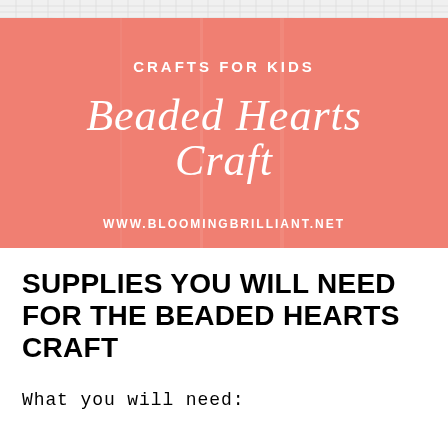[Figure (illustration): Banner image with salmon/coral pink background showing 'CRAFTS FOR KIDS' in uppercase white letters, 'Beaded Hearts Craft' in large white script/cursive lettering, and 'WWW.BLOOMINGBRILLIANT.NET' in bold white uppercase letters at the bottom. The top of the image shows a white grid/graph paper torn edge effect.]
SUPPLIES YOU WILL NEED FOR THE BEADED HEARTS CRAFT
What you will need: